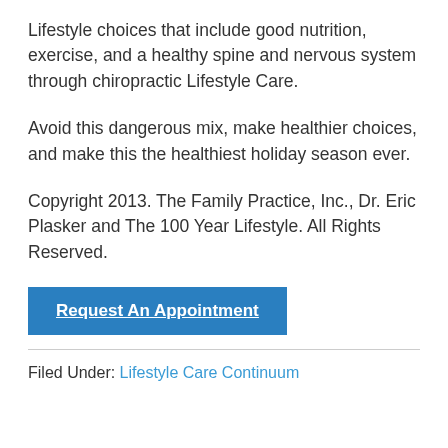Lifestyle choices that include good nutrition, exercise, and a healthy spine and nervous system through chiropractic Lifestyle Care.
Avoid this dangerous mix, make healthier choices, and make this the healthiest holiday season ever.
Copyright 2013. The Family Practice, Inc., Dr. Eric Plasker and The 100 Year Lifestyle. All Rights Reserved.
Request An Appointment
Filed Under: Lifestyle Care Continuum